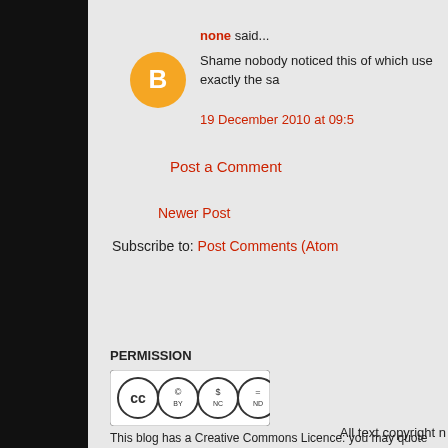none said...
Shame nobody noticed this of which use exactly the sa
19 December 2010 at 09:5
Post a Comment
Newer Post
Subscribe to: Post Comments (Atom)
PERMISSION
[Figure (logo): Creative Commons licence badge: CC BY NC ND]
This blog has a Creative Commons Licence: you may quote freely, bu Ask. Email n@nicolamorgan.co.uk WRITERS RESPECT RIGHTS
All text copyright n